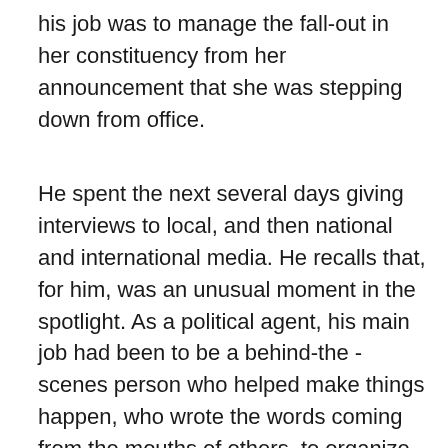his job was to manage the fall-out in her constituency from her announcement that she was stepping down from office.
He spent the next several days giving interviews to local, and then national and international media. He recalls that, for him, was an unusual moment in the spotlight. As a political agent, his main job had been to be a behind-the-scenes person who helped make things happen, who wrote the words coming from the mouths of others, to organize events and platforms, but not to speak his own words, as he put it. He recalls that similar experiences at a relatively young age were more than great preparation for his later career as a director of international communications for organizations such as McDonald's, Microsoft and British Telecom. Each of those roles involved managing the media relations for high profile